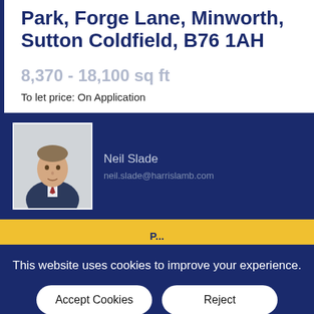Park, Forge Lane, Minworth, Sutton Coldfield, B76 1AH
8,370 - 18,100 sq ft
To let price: On Application
[Figure (photo): Headshot photo of agent Neil Slade in suit]
Neil Slade
neil.slade@harrislamb.com
This website uses cookies to improve your experience.
Accept Cookies
Reject